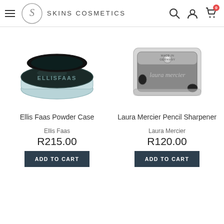SKINS COSMETICS
[Figure (photo): Ellis Faas Powder Case product photo — dark green/black round compact cosmetics case with lid partially open, ELLISFAAS text on lid]
Ellis Faas Powder Case
Ellis Faas
R215.00
ADD TO CART
[Figure (photo): Laura Mercier Pencil Sharpener product photo — silver/chrome metal pencil sharpener with clear plastic case, 'Made in Germany' and 'laura mercier' branding]
Laura Mercier Pencil Sharpener
Laura Mercier
R120.00
ADD TO CART